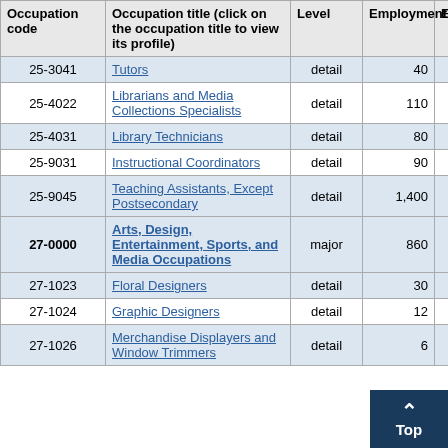| Occupation code | Occupation title (click on the occupation title to view its profile) | Level | Employment | Employment RSE |
| --- | --- | --- | --- | --- |
| 25-3041 | Tutors | detail | 40 | 12 |
| 25-4022 | Librarians and Media Collections Specialists | detail | 110 | 21 |
| 25-4031 | Library Technicians | detail | 80 | 15 |
| 25-9031 | Instructional Coordinators | detail | 90 | 15 |
| 25-9045 | Teaching Assistants, Except Postsecondary | detail | 1,400 | 5 |
| 27-0000 | Arts, Design, Entertainment, Sports, and Media Occupations | major | 860 | 5 |
| 27-1023 | Floral Designers | detail | 30 | 16 |
| 27-1024 | Graphic Designers | detail | 12 | 7 |
| 27-1026 | Merchandise Displayers and Window Trimmers | detail | 6 |  |